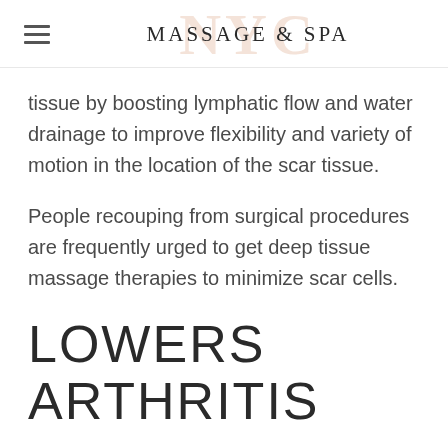NYC Massage & Spa
tissue by boosting lymphatic flow and water drainage to improve flexibility and variety of motion in the location of the scar tissue.
People recouping from surgical procedures are frequently urged to get deep tissue massage therapies to minimize scar cells.
LOWERS ARTHRITIS